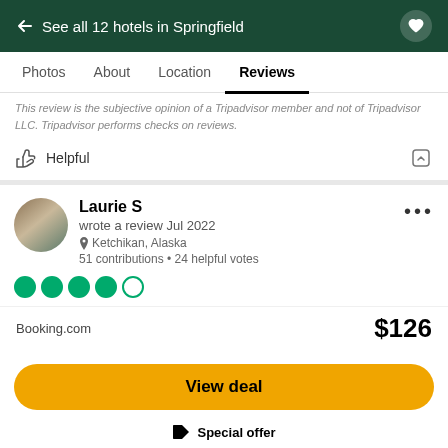← See all 12 hotels in Springfield
Photos   About   Location   Reviews
This review is the subjective opinion of a Tripadvisor member and not of Tripadvisor LLC. Tripadvisor performs checks on reviews.
Helpful
Laurie S
wrote a review Jul 2022
Ketchikan, Alaska
51 contributions • 24 helpful votes
Great location - lacks services
Booking.com   $126
View deal
Special offer